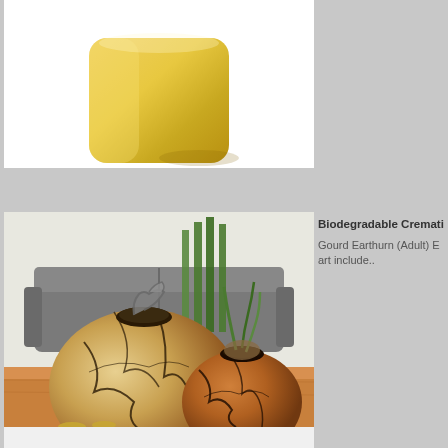[Figure (photo): Gold metallic square cremation urn on white background]
[Figure (photo): Two gourd earthurns (biodegradable cremation urns) sitting on a wooden table with a sofa in the background. The gourds are decorated with cracked earth patterns and dark lids; one has a bird figurine and the other has a plant growing from it. Gold coins are scattered near them.]
Biodegradable Cremati
Gourd Earthurn (Adult) E art include..